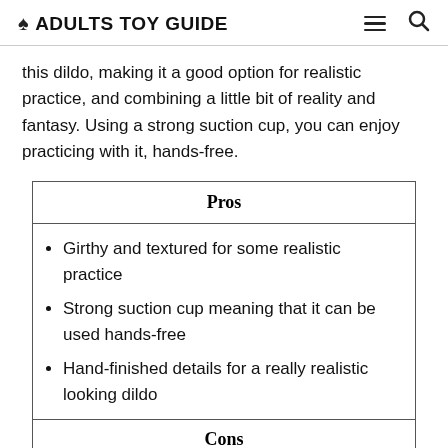ADULTS TOY GUIDE
this dildo, making it a good option for realistic practice, and combining a little bit of reality and fantasy. Using a strong suction cup, you can enjoy practicing with it, hands-free.
| Pros |
| --- |
| Girthy and textured for some realistic practice
Strong suction cup meaning that it can be used hands-free
Hand-finished details for a really realistic looking dildo |
| Cons |
|  |